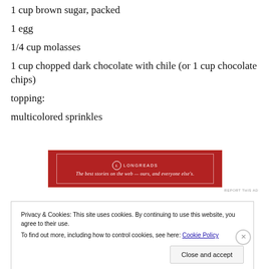1 cup brown sugar, packed
1 egg
1/4 cup molasses
1 cup chopped dark chocolate with chile (or 1 cup chocolate chips)
topping:
multicolored sprinkles
[Figure (other): Longreads advertisement banner: red background with white border, Longreads logo and tagline 'The best stories on the web — ours, and everyone else's.']
Privacy & Cookies: This site uses cookies. By continuing to use this website, you agree to their use. To find out more, including how to control cookies, see here: Cookie Policy